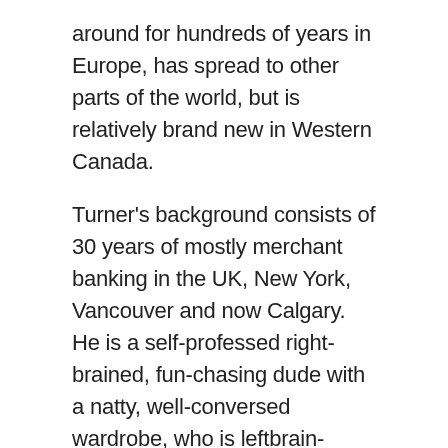around for hundreds of years in Europe, has spread to other parts of the world, but is relatively brand new in Western Canada.
Turner's background consists of 30 years of mostly merchant banking in the UK, New York, Vancouver and now Calgary. He is a self-professed right-brained, fun-chasing dude with a natty, well-conversed wardrobe, who is leftbrain-trained in banking. He knows the banking and financing system like a goalie knows his opposition's weaknesses, but can't wait to write a song and jam with his son. He is as atypical as they come.
Back in the day when farmers wanted to borrow money to take advantage of a novel